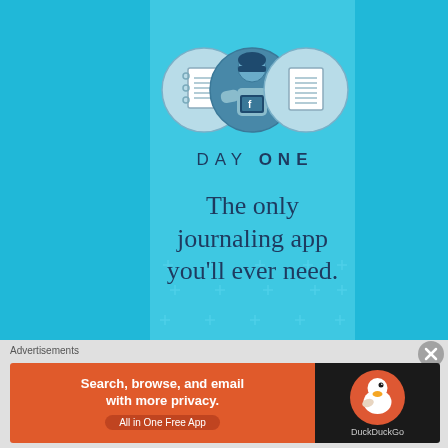[Figure (illustration): Day One journaling app advertisement. Light blue background with darker blue center column. Three circular icons at top showing a notebook, a person with a phone/tablet, and a lined document. Below is the Day One logo text. Decorative plus/star marks scattered across the center panel. Large tagline text reads 'The only journaling app you'll ever need.']
DAY ONE
The only journaling app you'll ever need.
Advertisements
Search, browse, and email with more privacy. All in One Free App